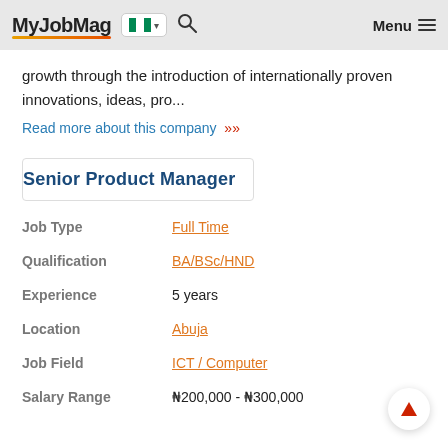MyJobMag [Nigeria flag] Menu
growth through the introduction of internationally proven innovations, ideas, pro...
Read more about this company »
Senior Product Manager
| Field | Value |
| --- | --- |
| Job Type | Full Time |
| Qualification | BA/BSc/HND |
| Experience | 5 years |
| Location | Abuja |
| Job Field | ICT / Computer |
| Salary Range | ₦200,000 - ₦300,000 |